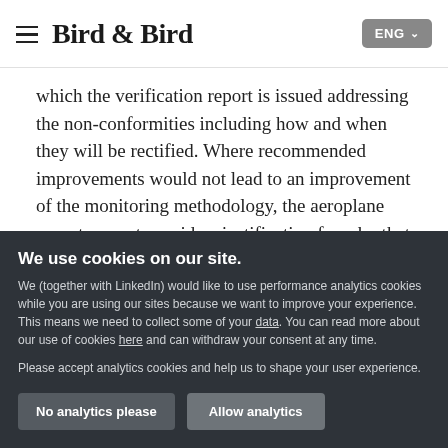Bird & Bird | ENG
which the verification report is issued addressing the non-conformities including how and when they will be rectified. Where recommended improvements would not lead to an improvement of the monitoring methodology, the aeroplane operator must provide a justification for why that is the case. Where the recommended improvements
We use cookies on our site.
We (together with LinkedIn) would like to use performance analytics cookies while you are using our sites because we want to improve your experience. This means we need to collect some of your data. You can read more about our use of cookies here and can withdraw your consent at any time.
Please accept analytics cookies and help us to shape your user experience.
No analytics please
Allow analytics